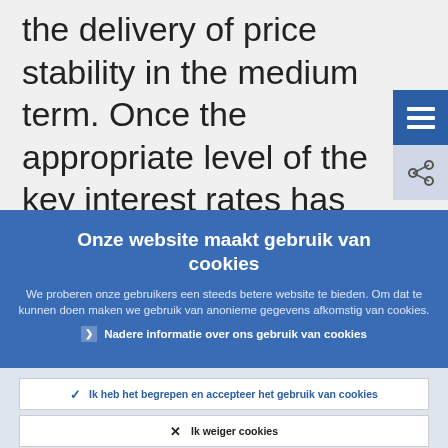the delivery of price stability in the medium term. Once the appropriate level of the key interest rates has been set, the Executive Board of the ECB implements its monetary
Onze website maakt gebruik van cookies
We proberen onze gebruikers een steeds betere website te bieden. Om dat te kunnen doen maken we gebruik van anonieme gegevens afkomstig van cookies.
Nadere informatie over ons gebruik van cookies
Ik heb het begrepen en accepteer het gebruik van cookies
Ik weiger cookies